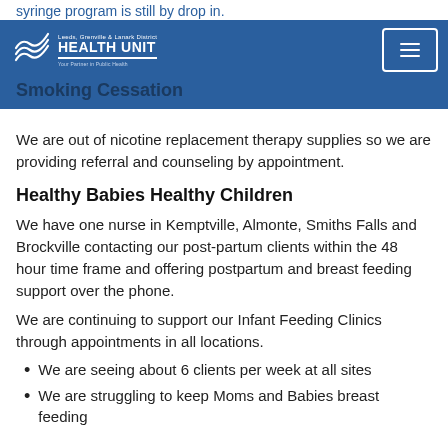syringe program is still by drop in.
[Figure (logo): Leeds, Grenville & Lanark District Health Unit logo with wave graphic and tagline 'Your Partner in Public Health']
Smoking Cessation
We are out of nicotine replacement therapy supplies so we are providing referral and counseling by appointment.
Healthy Babies Healthy Children
We have one nurse in Kemptville, Almonte, Smiths Falls and Brockville contacting our post-partum clients within the 48 hour time frame and offering postpartum and breast feeding support over the phone.
We are continuing to support our Infant Feeding Clinics through appointments in all locations.
We are seeing about 6 clients per week at all sites
We are struggling to keep Moms and Babies breast feeding